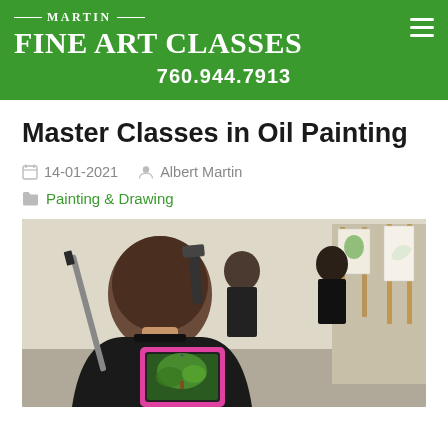MARTIN FINE ART CLASSES — 760.944.7913
Master Classes in Oil Painting
14-01-2021   Albert Martin
Painting & Drawing
[Figure (photo): A woman seen from the back looking at a tablet in a pink case while painting at an easel in an art class studio. Other students and easels with canvases are visible in the background.]